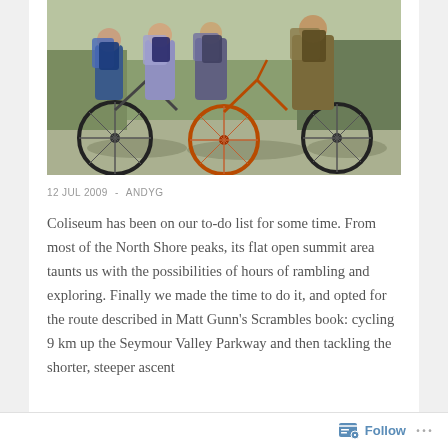[Figure (photo): Group of cyclists with bicycles standing together on a paved area outdoors, with trees and fencing in the background. Several people wearing backpacks, standing with their bikes.]
12 JUL 2009  -  ANDYG
Coliseum has been on our to-do list for some time. From most of the North Shore peaks, its flat open summit area taunts us with the possibilities of hours of rambling and exploring. Finally we made the time to do it, and opted for the route described in Matt Gunn’s Scrambles book: cycling 9 km up the Seymour Valley Parkway and then tackling the shorter, steeper ascent
Follow ...